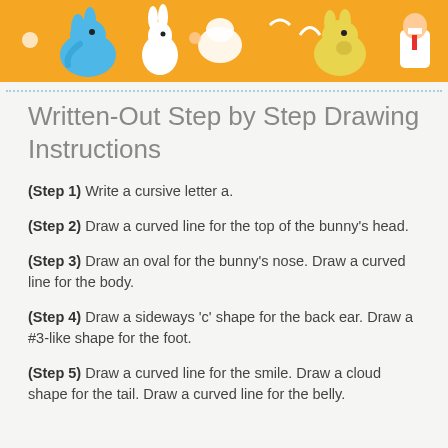[Figure (illustration): Colorful cartoon banner with animals and characters on an orange background including an elephant, bunny, cow, and other characters in doctor/lab coats]
Written-Out Step by Step Drawing Instructions
(Step 1) Write a cursive letter a.
(Step 2) Draw a curved line for the top of the bunny’s head.
(Step 3) Draw an oval for the bunny’s nose. Draw a curved line for the body.
(Step 4) Draw a sideways ‘c’ shape for the back ear. Draw a #3-like shape for the foot.
(Step 5) Draw a curved line for the smile. Draw a cloud shape for the tail. Draw a curved line for the belly.